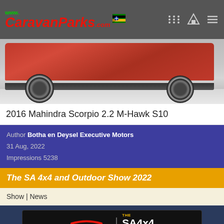www.CaravanParks.com
[Figure (photo): Rear view of a red SUV (Mahindra Scorpio) on a light floor, showing wheel and rear bumper]
2016 Mahindra Scorpio 2.2 M-Hawk S10
Author: Botha en Deysel Executive Motors
31 Aug, 2022
Impressions 5238
The SA 4x4 and Outdoor Show 2022
Show | News
[Figure (logo): Tiger Wheel & Tyre official sponsor banner for The SA 4x4 & Outdoor Show. Black background with Tiger Wheel & Tyre logo on the left and SA 4x4 & Outdoor Show logo on the right, text OFFICIAL SPONSOR at bottom center. reCAPTCHA badge visible in bottom right corner.]